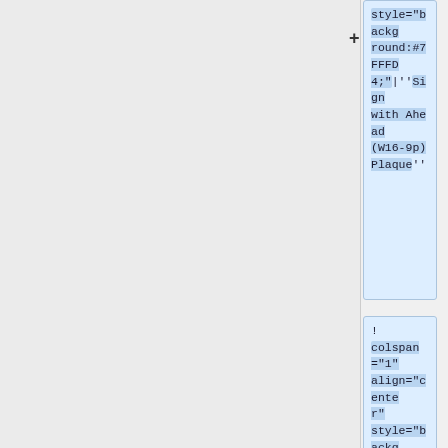style="background:#7FFFD4;"|''Sign with Ahead (W16-9p) Plaque''
! colspan="1" align="center" style="background:#7FFFD4;"|''Sign with Diagonal Down Arrow (W16-7p) Plaque''
! colspan="1" align="cente